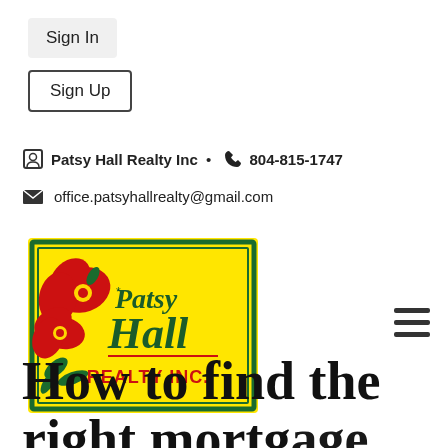Sign In
Sign Up
Patsy Hall Realty Inc  •  804-815-1747
office.patsyhallrealty@gmail.com
[Figure (logo): Patsy Hall Realty Inc logo — yellow background with green border, red hibiscus flowers on the left, dark green text 'Patsy Hall' and red text 'REALTY INC.']
How to find the right mortgage